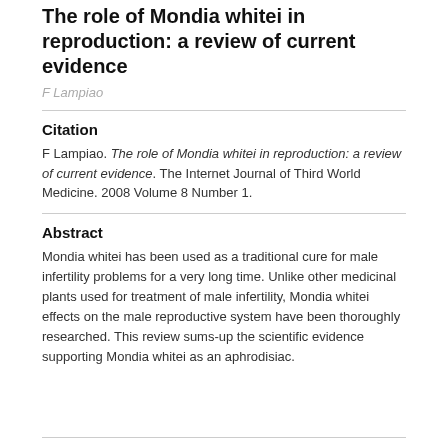The role of Mondia whitei in reproduction: a review of current evidence
F Lampiao
Citation
F Lampiao. The role of Mondia whitei in reproduction: a review of current evidence. The Internet Journal of Third World Medicine. 2008 Volume 8 Number 1.
Abstract
Mondia whitei has been used as a traditional cure for male infertility problems for a very long time. Unlike other medicinal plants used for treatment of male infertility, Mondia whitei effects on the male reproductive system have been thoroughly researched. This review sums-up the scientific evidence supporting Mondia whitei as an aphrodisiac.